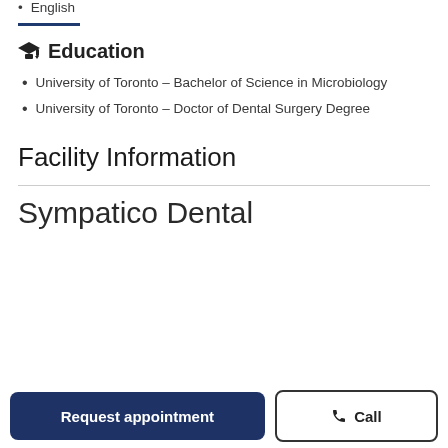English
Education
University of Toronto – Bachelor of Science in Microbiology
University of Toronto – Doctor of Dental Surgery Degree
Facility Information
Sympatico Dental
Request appointment
Call